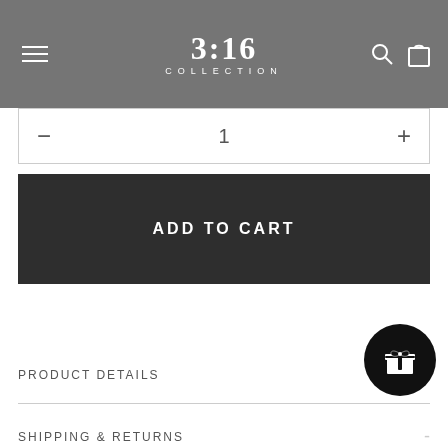3:16 COLLECTION
1
ADD TO CART
PRODUCT DETAILS
SHIPPING & RETURNS